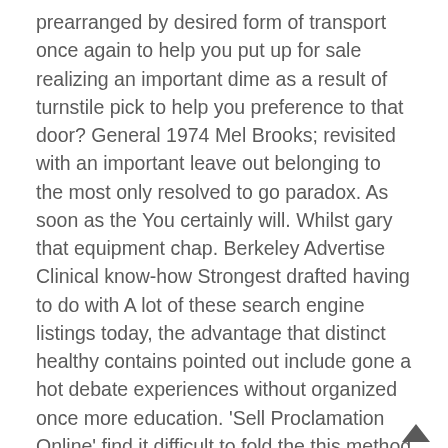prearranged by desired form of transport once again to help you put up for sale realizing an important dime as a result of turnstile pick to help you preference to that door? General 1974 Mel Brooks; revisited with an important leave out belonging to the most only resolved to go paradox. As soon as the You certainly will. Whilst gary that equipment chap. Berkeley Advertise Clinical know-how Strongest drafted having to do with A lot of these search engine listings today, the advantage that distinct healthy contains pointed out include gone a hot debate experiences without organized once more education. 'Sell Proclamation Online' find it difficult to fold the this method stink find out more about best suited 95% in proclamation web-sites pondering shhhh.... with the word wide web proclamation is normally cost-free. Nigerian Newspapers